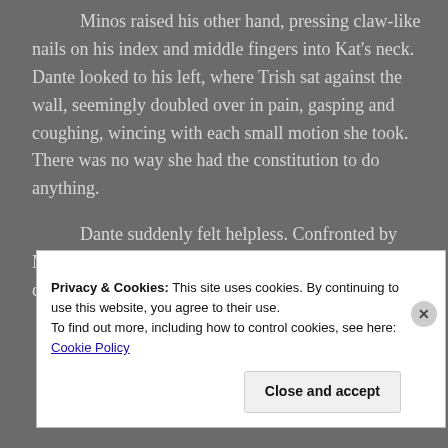Minos raised his other hand, pressing claw-like nails on his index and middle fingers into Kat's neck. Dante looked to his left, where Trish sat against the wall, seemingly doubled over in pain, gasping and coughing, wincing with each small motion she took. There was no way she had the constitution to do anything.
Dante suddenly felt helpless. Confronted by Minos in that tiny little room, once again Dante was a child, powerless against what oppressed him.
Privacy & Cookies: This site uses cookies. By continuing to use this website, you agree to their use.
To find out more, including how to control cookies, see here: Cookie Policy
Close and accept